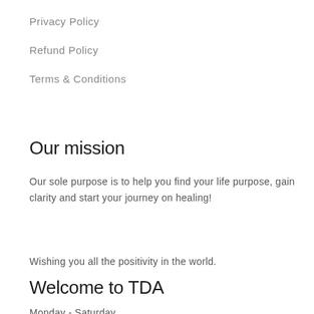Privacy Policy
Refund Policy
Terms & Conditions
Our mission
Our sole purpose is to help you find your life purpose, gain clarity and start your journey on healing!
Wishing you all the positivity in the world.
Welcome to TDA
Monday - Saturday